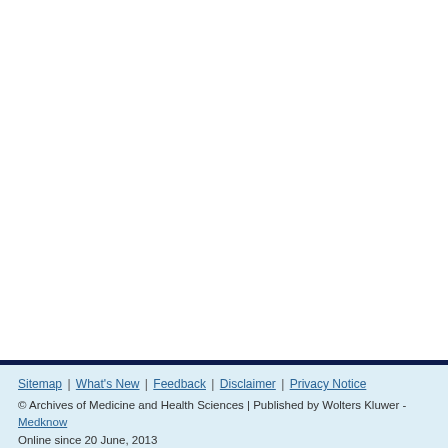Sitemap | What's New | Feedback | Disclaimer | Privacy Notice
© Archives of Medicine and Health Sciences | Published by Wolters Kluwer - Medknow
Online since 20 June, 2013
Editorial and Ethics Policies